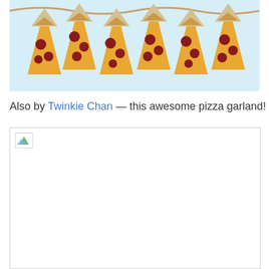[Figure (photo): Crocheted pizza slice bunting/garland hanging against a light blue background. Multiple triangular pizza slice shapes with yellow/orange crust, red cheese, and dark red pepperoni spots are strung together.]
Also by Twinkie Chan — this awesome pizza garland!
[Figure (photo): Partially loaded or broken image placeholder (small icon with green/blue triangle) at the top of a large white rectangle area.]